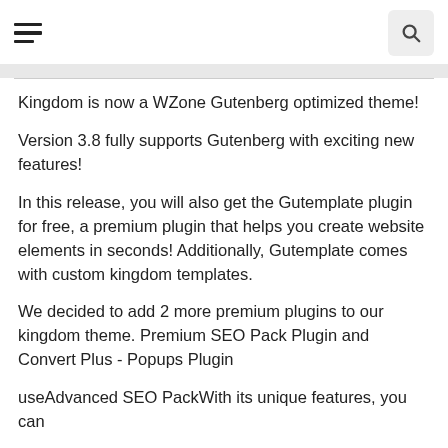navigation header with hamburger menu and search button
Kingdom is now a WZone Gutenberg optimized theme!
Version 3.8 fully supports Gutenberg with exciting new features!
In this release, you will also get the Gutemplate plugin for free, a premium plugin that helps you create website elements in seconds! Additionally, Gutemplate comes with custom kingdom templates.
We decided to add 2 more premium plugins to our kingdom theme. Premium SEO Pack Plugin and Convert Plus - Popups Plugin
useAdvanced SEO PackWith its unique features, you can